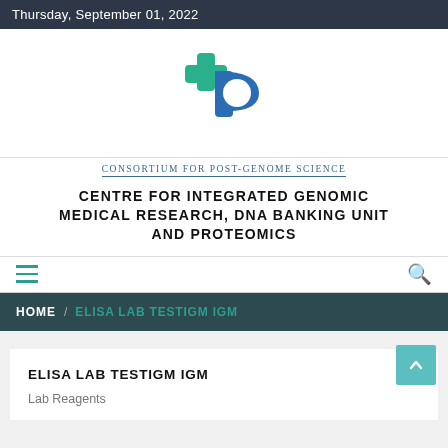Thursday, September 01, 2022
[Figure (logo): Consortium for Post-Genome Science logo with green cross and blue P-shaped symbol]
Consortium for Post-Genome Science
CENTRE FOR INTEGRATED GENOMIC MEDICAL RESEARCH, DNA BANKING UNIT AND PROTEOMICS
HOME / ELISA LAB TESTIGM IGM
ELISA LAB TESTIGM IGM
Lab Reagents